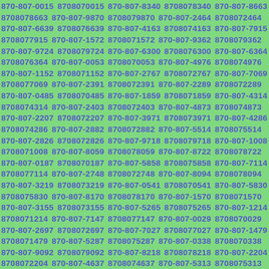870-807-0015 8708070015 870-807-8340 8708078340 870-807-8663 8708078663 870-807-9870 8708079870 870-807-2464 8708072464 870-807-6639 8708076639 870-807-4163 8708074163 870-807-7915 8708077915 870-807-1572 8708071572 870-807-9362 8708079362 870-807-9724 8708079724 870-807-6300 8708076300 870-807-6364 8708076364 870-807-0053 8708070053 870-807-4976 8708074976 870-807-1152 8708071152 870-807-2767 8708072767 870-807-7069 8708077069 870-807-2391 8708072391 870-807-2289 8708072289 870-807-0485 8708070485 870-807-1859 8708071859 870-807-4314 8708074314 870-807-2403 8708072403 870-807-4873 8708074873 870-807-2207 8708072207 870-807-3971 8708073971 870-807-4286 8708074286 870-807-2882 8708072882 870-807-5514 8708075514 870-807-2826 8708072826 870-807-9718 8708079718 870-807-1008 8708071008 870-807-8059 8708078059 870-807-8722 8708078722 870-807-0187 8708070187 870-807-5858 8708075858 870-807-7114 8708077114 870-807-2748 8708072748 870-807-8094 8708078094 870-807-3219 8708073219 870-807-0541 8708070541 870-807-5830 8708075830 870-807-8170 8708078170 870-807-1570 8708071570 870-807-3155 8708073155 870-807-5265 8708075265 870-807-1214 8708071214 870-807-7147 8708077147 870-807-0029 8708070029 870-807-2697 8708072697 870-807-7027 8708077027 870-807-1479 8708071479 870-807-5287 8708075287 870-807-0338 8708070338 870-807-9092 8708079092 870-807-8218 8708078218 870-807-2204 8708072204 870-807-4637 8708074637 870-807-5313 8708075313 870-807-6356 8708076356 870-807-4152 8708074152 870-807-6847